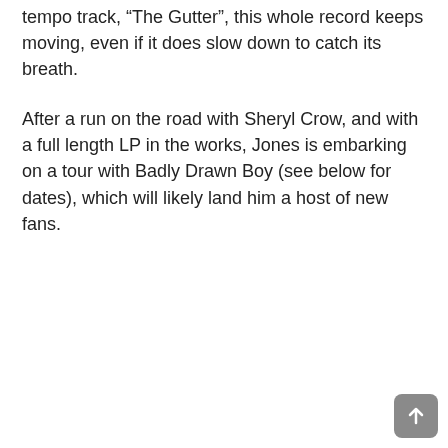tempo track, "The Gutter", this whole record keeps moving, even if it does slow down to catch its breath.
After a run on the road with Sheryl Crow, and with a full length LP in the works, Jones is embarking on a tour with Badly Drawn Boy (see below for dates), which will likely land him a host of new fans.